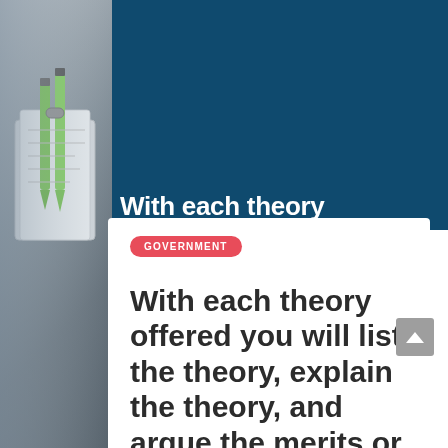[Figure (photo): Dark blue background with a document/government themed image. Left side shows partial photo of office supplies including green pens and binder clips on a white/grey surface.]
GOVERNMENT
With each theory offered you will list the theory, explain the theory, and argue the merits or lack thereof for each